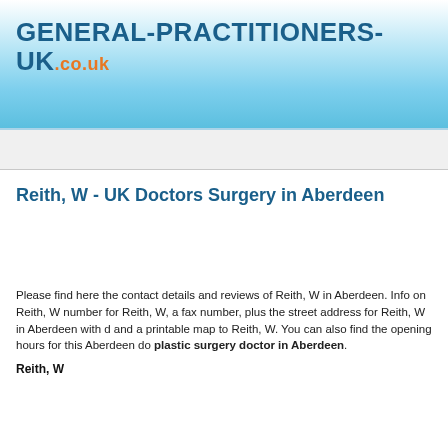GENERAL-PRACTITIONERS-UK.co.uk
Reith, W - UK Doctors Surgery in Aberdeen
Please find here the contact details and reviews of Reith, W in Aberdeen. Info on Reith, W number for Reith, W, a fax number, plus the street address for Reith, W in Aberdeen with d and a printable map to Reith, W. You can also find the opening hours for this Aberdeen do plastic surgery doctor in Aberdeen.
Reith, W